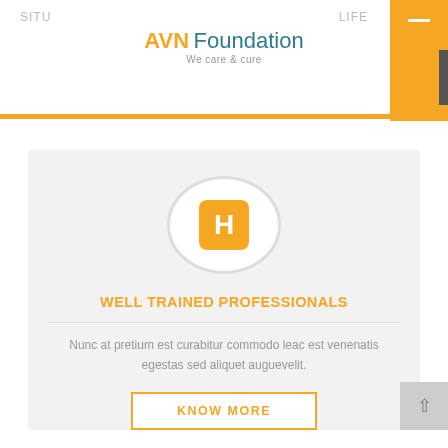SITU   LIFE
[Figure (logo): AVN Foundation logo with tagline 'We care & cure']
[Figure (illustration): Hospital/medical H icon in orange rounded square inside a white circle on grey card background]
WELL TRAINED PROFESSIONALS
Nunc at pretium est curabitur commodo leac est venenatis egestas sed aliquet auguevelit.
KNOW MORE